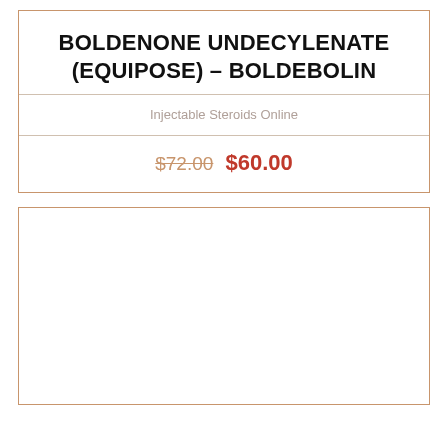BOLDENONE UNDECYLENATE (EQUIPOSE) – BOLDEBOLIN
Injectable Steroids Online
$72.00 $60.00
[Figure (other): Empty white box with bronze/tan border, likely placeholder for product image]